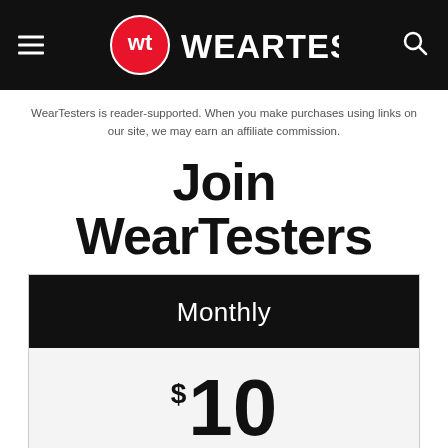WearTesters (navigation header with logo)
WearTesters is reader-supported. When you make purchases using links on our site, we may earn an affiliate commission.
Join WearTesters
Monthly
$10 per month